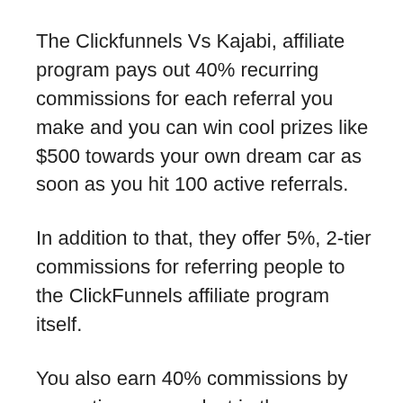The Clickfunnels Vs Kajabi, affiliate program pays out 40% recurring commissions for each referral you make and you can win cool prizes like $500 towards your own dream car as soon as you hit 100 active referrals.
In addition to that, they offer 5%, 2-tier commissions for referring people to the ClickFunnels affiliate program itself.
You also earn 40% commissions by promoting any product in the ClickFunnel's ecosystem such as DotCom Secrets, Expert Secrets or even the Software Secrets books.